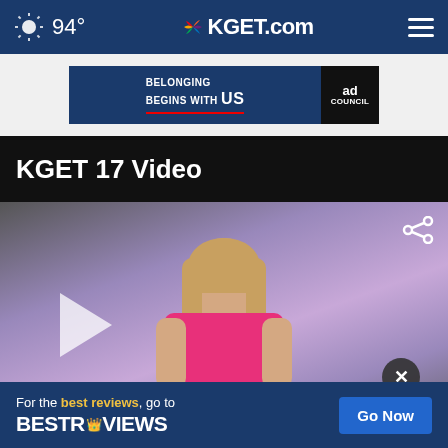94° KGET.com
[Figure (other): Ad banner: Belonging Begins With US - Ad Council]
KGET 17 Video
[Figure (screenshot): Video player showing female news anchor in pink top with share icon, play button, and close button overlay]
[Figure (other): Bottom ad overlay: For the best reviews, go to BESTREVIEWS - Go Now button]
6:25 AM 76°